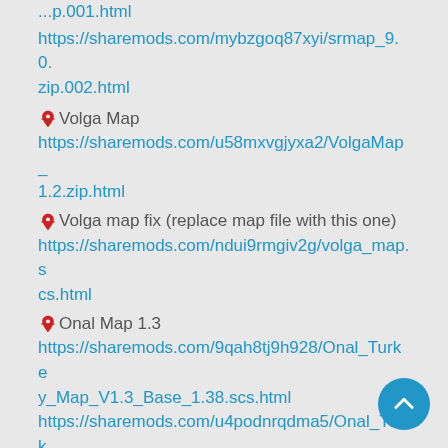https://sharemods.com/mybzgoq87xyi/srmap_9.0.zip.001.html (truncated at top)
https://sharemods.com/mybzgoq87xyi/srmap_9.0.zip.002.html
📌Volga Map https://sharemods.com/u58mxvgjyxa2/VolgaMap_1.2.zip.html
📌Volga map fix (replace map file with this one) https://sharemods.com/ndui9rmgiv2g/volga_map.scs.html
📌Onal Map 1.3 https://sharemods.com/9qah8tj9h928/Onal_Turkey_Map_V1.3_Base_1.38.scs.html https://sharemods.com/u4podnrqdma5/Onal_Turkey_Map_V1.3_Def_1.38.scs.html
📌Promods 2.50 and Middle East Add-on